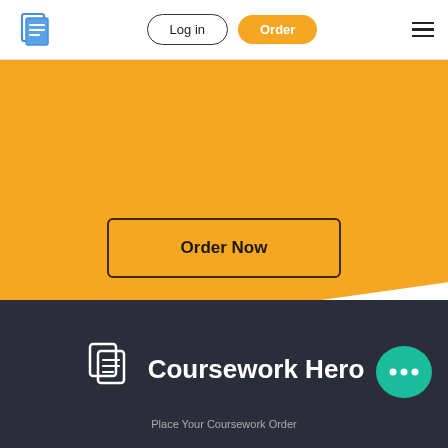[Figure (logo): Coursework Hero logo icon - blue document pages icon in nav bar]
Log in
Order
[Figure (other): Hamburger menu icon with three horizontal lines]
[Figure (other): Yellow hero banner section with diagonal bottom edge]
Order Now
[Figure (logo): Coursework Hero white document icon and brand name on dark background]
Coursework Hero
[Figure (other): Teal chat bubble with three dots (ellipsis)]
Place Your Coursework Order